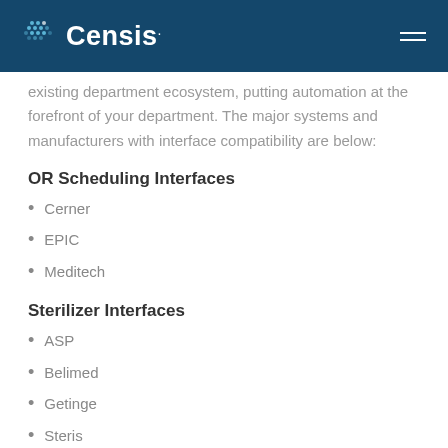Censis
existing department ecosystem, putting automation at the forefront of your department. The major systems and manufacturers with interface compatibility are below:
OR Scheduling Interfaces
Cerner
EPIC
Meditech
Sterilizer Interfaces
ASP
Belimed
Getinge
Steris